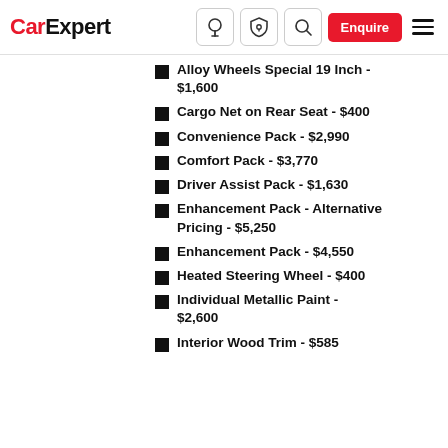CarExpert
Alloy Wheels Special 19 Inch - $1,600
Cargo Net on Rear Seat - $400
Convenience Pack - $2,990
Comfort Pack - $3,770
Driver Assist Pack - $1,630
Enhancement Pack - Alternative Pricing - $5,250
Enhancement Pack - $4,550
Heated Steering Wheel - $400
Individual Metallic Paint - $2,600
Interior Wood Trim - $585